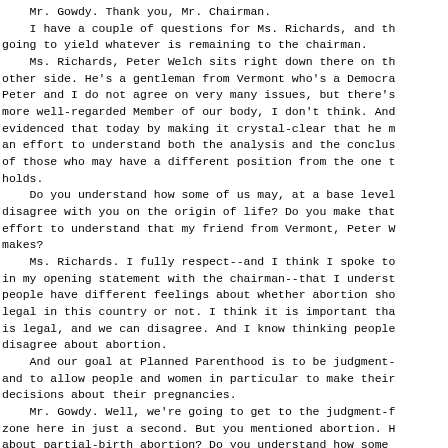Mr. Gowdy. Thank you, Mr. Chairman.
    I have a couple of questions for Ms. Richards, and th going to yield whatever is remaining to the chairman.
    Ms. Richards, Peter Welch sits right down there on th other side. He's a gentleman from Vermont who's a Democra Peter and I do not agree on very many issues, but there's more well-regarded Member of our body, I don't think. And evidenced that today by making it crystal-clear that he m an effort to understand both the analysis and the conclus of those who may have a different position from the one t holds.
    Do you understand how some of us may, at a base level disagree with you on the origin of life? Do you make that effort to understand that my friend from Vermont, Peter W makes?
    Ms. Richards. I fully respect--and I think I spoke to in my opening statement with the chairman--that I underst people have different feelings about whether abortion sho legal in this country or not. I think it is important tha is legal, and we can disagree. And I know thinking people disagree about abortion.
    And our goal at Planned Parenthood is to be judgment- and to allow people and women in particular to make their decisions about their pregnancies.
    Mr. Gowdy. Well, we're going to get to the judgment-f zone here in just a second. But you mentioned abortion. H about partial-birth abortion? Do you understand how some may support a ban on partial-birth abortion?
    Ms. Richards. Well, I--I don't want to--I'm not tryin be argumentative, but that was a political formulation, n ...